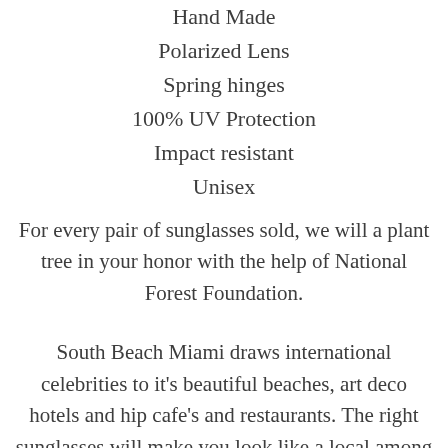Hand Made
Polarized Lens
Spring hinges
100% UV Protection
Impact resistant
Unisex
For every pair of sunglasses sold, we will a plant tree in your honor with the help of National Forest Foundation.
South Beach Miami draws international celebrities to it's beautiful beaches, art deco hotels and hip cafe's and restaurants. The right sunglasses will make you look like a local among the tourists.